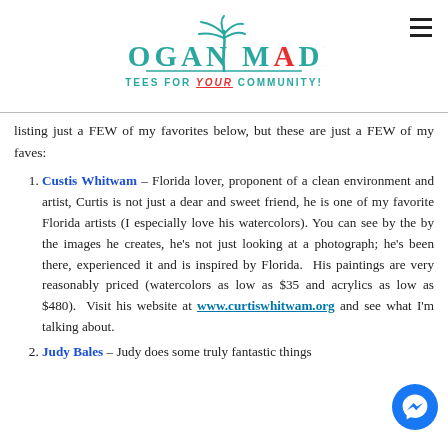HOGAN MADE — TEES FOR YOUR COMMUNITY!
listing just a FEW of my favorites below, but these are just a FEW of my faves:
Custis Whitwam – Florida lover, proponent of a clean environment and artist, Curtis is not just a dear and sweet friend, he is one of my favorite Florida artists (I especially love his watercolors). You can see by the by the images he creates, he's not just looking at a photograph; he's been there, experienced it and is inspired by Florida. His paintings are very reasonably priced (watercolors as low as $35 and acrylics as low as $480). Visit his website at www.curtiswhitwam.org and see what I'm talking about.
Judy Bales – Judy does some truly fantastic things